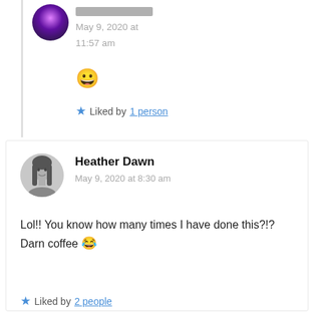May 9, 2020 at 11:57 am
[Figure (other): Smiley face emoji 😀]
★ Liked by 1 person
[Figure (photo): Circular avatar of Heather Dawn - black and white photo of a woman with long dark hair]
Heather Dawn
May 9, 2020 at 8:30 am
Lol!! You know how many times I have done this?!? Darn coffee 😂
★ Liked by 2 people
↳ Reply